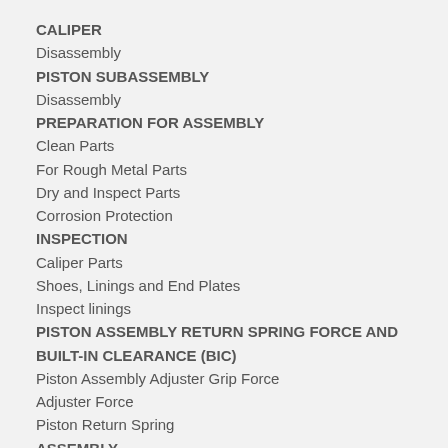CALIPER
Disassembly
PISTON SUBASSEMBLY
Disassembly
PREPARATION FOR ASSEMBLY
Clean Parts
For Rough Metal Parts
Dry and Inspect Parts
Corrosion Protection
INSPECTION
Caliper Parts
Shoes, Linings and End Plates
Inspect linings
PISTON ASSEMBLY RETURN SPRING FORCE AND BUILT-IN CLEARANCE (BIC)
Piston Assembly Adjuster Grip Force
Adjuster Force
Piston Return Spring
ASSEMBLY